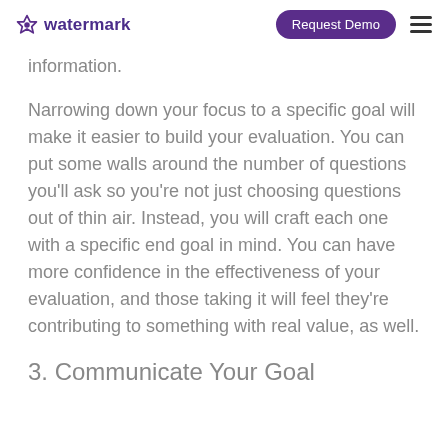watermark | Request Demo
information.
Narrowing down your focus to a specific goal will make it easier to build your evaluation. You can put some walls around the number of questions you'll ask so you're not just choosing questions out of thin air. Instead, you will craft each one with a specific end goal in mind. You can have more confidence in the effectiveness of your evaluation, and those taking it will feel they're contributing to something with real value, as well.
3. Communicate Your Goal